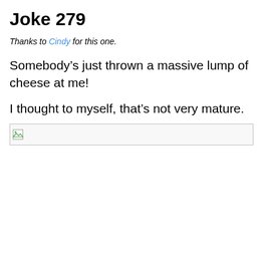Joke 279
Thanks to Cindy for this one.
Somebody’s just thrown a massive lump of cheese at me!
I thought to myself, that’s not very mature.
[Figure (photo): Broken image placeholder with border]